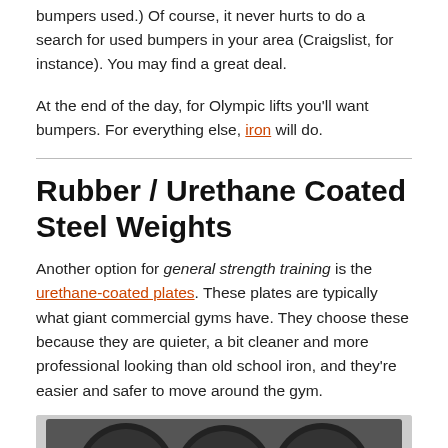bumpers used.) Of course, it never hurts to do a search for used bumpers in your area (Craigslist, for instance). You may find a great deal.
At the end of the day, for Olympic lifts you'll want bumpers. For everything else, iron will do.
Rubber / Urethane Coated Steel Weights
Another option for general strength training is the urethane-coated plates. These plates are typically what giant commercial gyms have. They choose these because they are quieter, a bit cleaner and more professional looking than old school iron, and they're easier and safer to move around the gym.
[Figure (photo): Three black rubber/urethane coated weight plates shown at bottom of page]